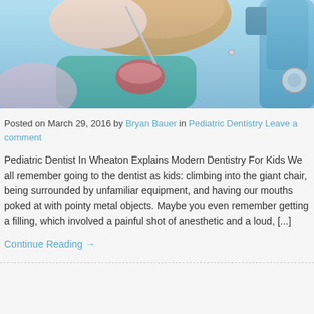[Figure (photo): Child patient in blue dental chair with mouth open, dentist holding metal instrument]
Posted on March 29, 2016 by Bryan Bauer in Pediatric Dentistry Leave a comment
Pediatric Dentist In Wheaton Explains Modern Dentistry For Kids We all remember going to the dentist as kids: climbing into the giant chair, being surrounded by unfamiliar equipment, and having our mouths poked at with pointy metal objects. Maybe you even remember getting a filling, which involved a painful shot of anesthetic and a loud, [...]
Continue Reading →